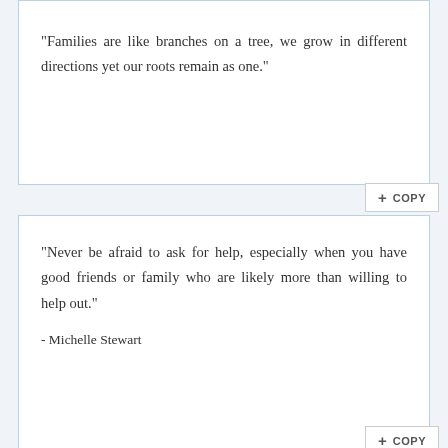"Families are like branches on a tree, we grow in different directions yet our roots remain as one."
"Never be afraid to ask for help, especially when you have good friends or family who are likely more than willing to help out."
- Michelle Stewart